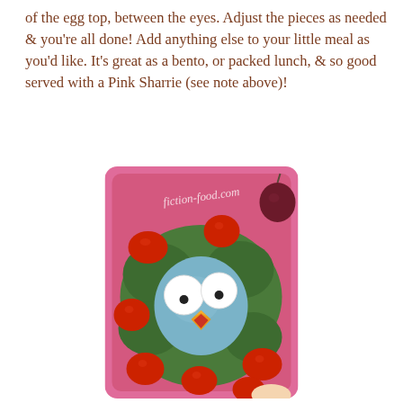of the egg top, between the eyes. Adjust the pieces as needed & you're all done! Add anything else to your little meal as you'd like. It's great as a bento, or packed lunch, & so good served with a Pink Sharrie (see note above)!
[Figure (photo): A pink bento box containing a blue hard-boiled egg decorated to look like a cartoon owl/bird face with large white egg-white eyes, a small orange and red beak, surrounded by cherry tomatoes and green lettuce leaves. A watermark reads 'fiction-food.com'.]